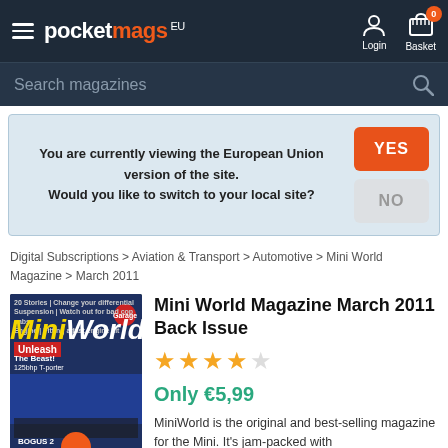pocketmags EU — Login | Basket 0
Search magazines
You are currently viewing the European Union version of the site. Would you like to switch to your local site? YES / NO
Digital Subscriptions > Aviation & Transport > Automotive > Mini World Magazine > March 2011
Mini World Magazine March 2011 Back Issue
Only €5,99
MiniWorld is the original and best-selling magazine for the Mini. It's jam-packed with